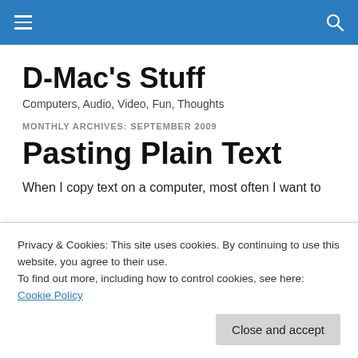D-Mac's Stuff — header bar with menu and search icons
D-Mac's Stuff
Computers, Audio, Video, Fun, Thoughts
MONTHLY ARCHIVES: SEPTEMBER 2009
Pasting Plain Text
When I copy text on a computer, most often I want to
Privacy & Cookies: This site uses cookies. By continuing to use this website, you agree to their use.
To find out more, including how to control cookies, see here: Cookie Policy
Close and accept
hotkey for that missing function.